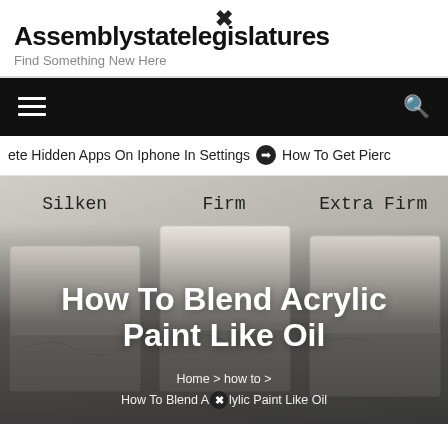Assemblystatelegislatures — Find Something New Here
[Figure (screenshot): Navigation bar with hamburger menu icon on left and search icon on right, on black background]
ete Hidden Apps On Iphone In Settings  ➡  How To Get Pierc
[Figure (photo): Tofu blocks labeled Silken, Firm, Extra Firm on a gray surface, used as hero image background with labels overlaid]
How To Blend Acrylic Paint Like Oil
Home > how to > How To Blend Acrylic Paint Like Oil